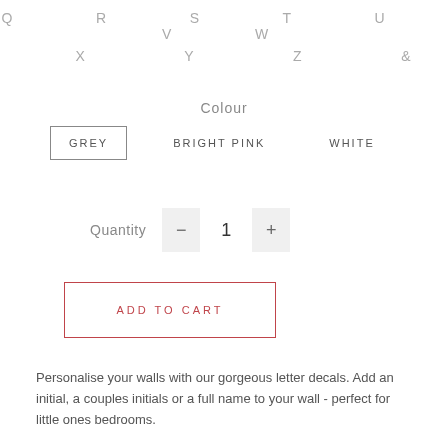Q  R  S  T  U  V  W
X  Y  Z  &
Colour
GREY   BRIGHT PINK   WHITE
Quantity  -  1  +
ADD TO CART
Personalise your walls with our gorgeous letter decals. Add an initial, a couples initials or a full name to your wall - perfect for little ones bedrooms.